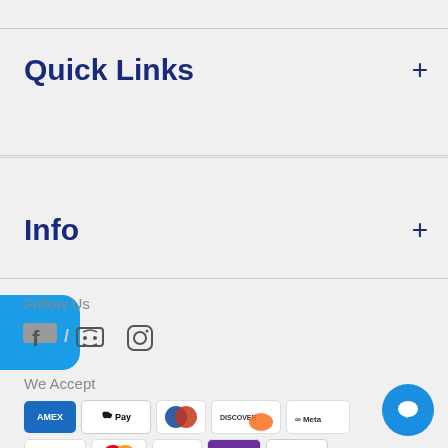Quick Links +
Info +
Follow Us
[Figure (infographic): Social media icons: Facebook (f), Discord, Instagram]
We Accept
[Figure (infographic): Payment method logos: AMEX, Apple Pay, Diners Club, Discover, Meta Pay, Google Pay, Mastercard, PayPal, OPay, VISA]